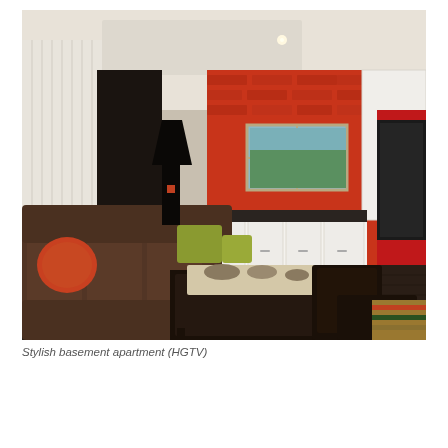[Figure (photo): Interior photo of a stylish basement apartment showing a brown sectional sofa with orange and green accent pillows, a dark coffee table with decorative items, a floral-patterned armchair with an orange pillow, and an open-plan kitchen with red brick backsplash and white cabinets. Red entertainment unit visible on the right. Dark hardwood floors and recessed lighting.]
Stylish basement apartment (HGTV)